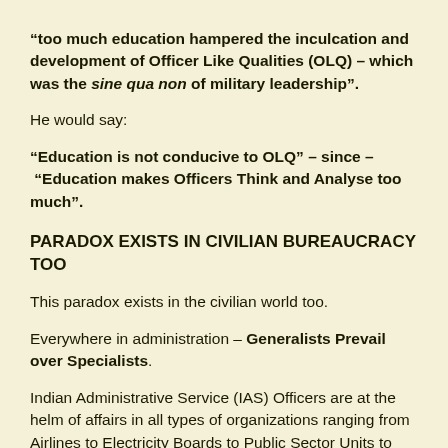“too much education hampered the inculcation and development of Officer Like Qualities (OLQ) – which was the sine qua non of military leadership”.
He would say:
“Education is not conducive to OLQ” – since – “Education makes Officers Think and Analyse too much”.
PARADOX EXISTS IN CIVILIAN BUREAUCRACY TOO
This paradox exists in the civilian world too.
Everywhere in administration – Generalists Prevail over Specialists.
Indian Administrative Service (IAS) Officers are at the helm of affairs in all types of organizations ranging from Airlines to Electricity Boards to Public Sector Units to Port Trusts to Financial Institutions.
Yes – you will see generalists lord over specialists in all